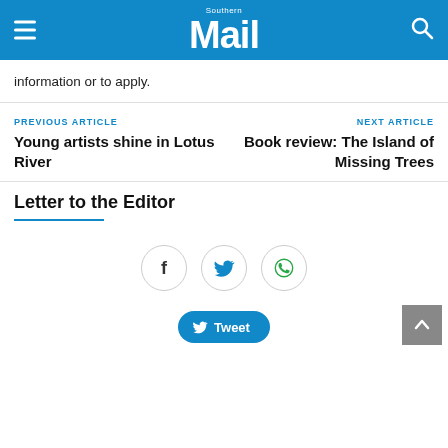Southern Mail
information or to apply.
PREVIOUS ARTICLE
Young artists shine in Lotus River
NEXT ARTICLE
Book review: The Island of Missing Trees
Letter to the Editor
[Figure (other): Social sharing buttons: Facebook, Twitter, WhatsApp, and a Tweet button]